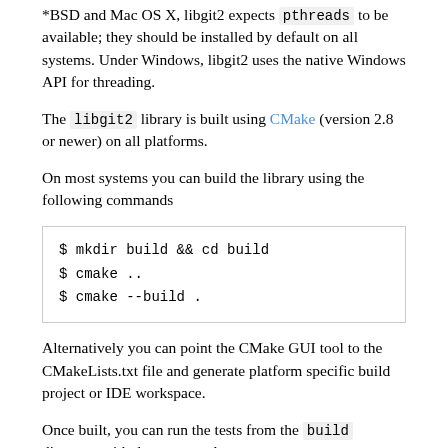*BSD and Mac OS X, libgit2 expects pthreads to be available; they should be installed by default on all systems. Under Windows, libgit2 uses the native Windows API for threading.
The libgit2 library is built using CMake (version 2.8 or newer) on all platforms.
On most systems you can build the library using the following commands
$ mkdir build && cd build
$ cmake ..
$ cmake --build .
Alternatively you can point the CMake GUI tool to the CMakeLists.txt file and generate platform specific build project or IDE workspace.
Once built, you can run the tests from the build directory with the command
$ make test